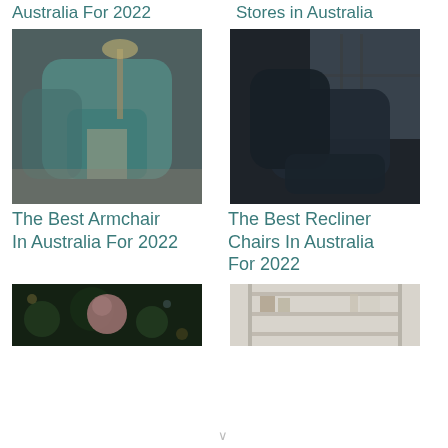Australia For 2022
Stores in Australia
[Figure (photo): Teal egg-shaped armchair with a small side table and lamp in a stylish interior]
[Figure (photo): Dark navy blue recliner chair with ottoman near a window]
The Best Armchair In Australia For 2022
The Best Recliner Chairs In Australia For 2022
[Figure (photo): Christmas ornament on a tree, close-up with bokeh lights]
[Figure (photo): Modern white living room shelving unit interior]